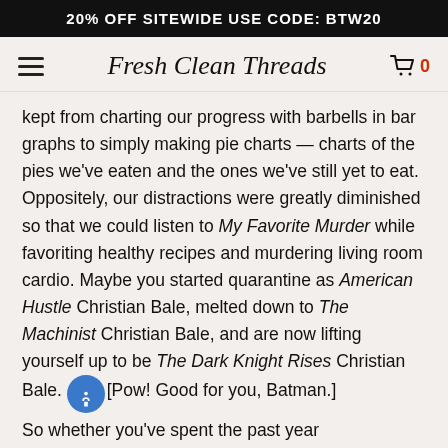20% OFF SITEWIDE USE CODE: BTW20
Fresh Clean Threads
kept from charting our progress with barbells in bar graphs to simply making pie charts — charts of the pies we've eaten and the ones we've still yet to eat. Oppositely, our distractions were greatly diminished so that we could listen to My Favorite Murder while favoriting healthy recipes and murdering living room cardio. Maybe you started quarantine as American Hustle Christian Bale, melted down to The Machinist Christian Bale, and are now lifting yourself up to be The Dark Knight Rises Christian Bale. [Pow! Good for you, Batman.]
So whether you've spent the past year